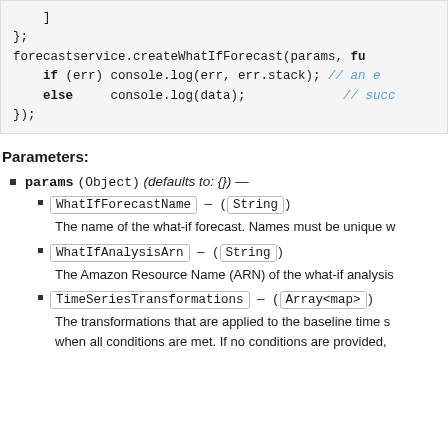[Figure (screenshot): Code block showing JavaScript snippet with forecastservice.createWhatIfForecast call with if/else for error handling]
Parameters:
params (Object) (defaults to: {}) —
WhatIfForecastName — (String)
The name of the what-if forecast. Names must be unique w
WhatIfAnalysisArn — (String)
The Amazon Resource Name (ARN) of the what-if analysis
TimeSeriesTransformations — (Array<map>)
The transformations that are applied to the baseline time s when all conditions are met. If no conditions are provided,